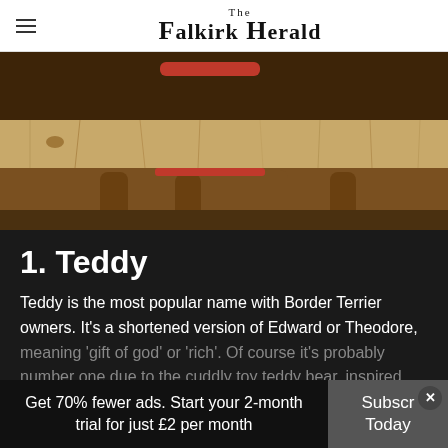The Falkirk Herald
[Figure (photo): A dog (Border Terrier) looking through or over a wooden fence/gate, wearing a red collar. Warm golden tones.]
1. Teddy
Teddy is the most popular name with Border Terrier owners. It's a shortened version of Edward or Theodore, meaning 'gift of god' or 'rich'. Of course it's probably number one due to the cuddly toy teddy bear, inspired
Get 70% fewer ads. Start your 2-month trial for just £2 per month
Subscr Today